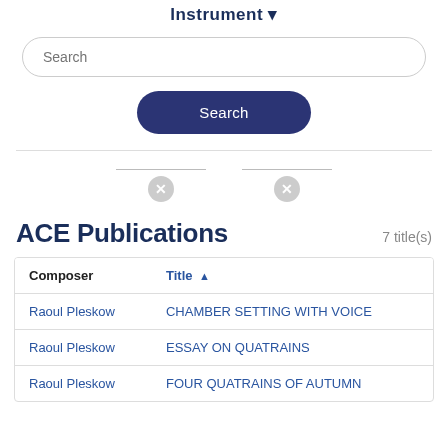Instrument
Search
Search
ACE Publications
7 title(s)
| Composer | Title ▲ |
| --- | --- |
| Raoul Pleskow | CHAMBER SETTING WITH VOICE |
| Raoul Pleskow | ESSAY ON QUATRAINS |
| Raoul Pleskow | FOUR QUATRAINS OF AUTUMN |